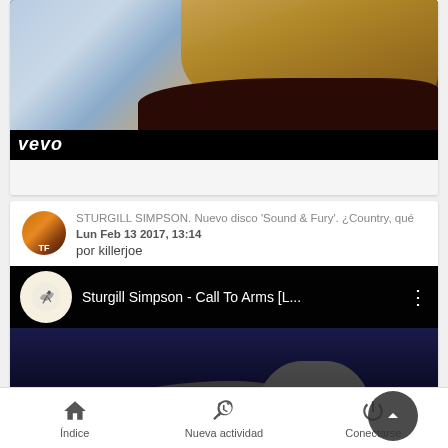[Figure (screenshot): Video thumbnail with woman with golden curly hair, vevo logo overlay, and black bar at bottom]
STURGILL SIMPSON. Nuevo disco 'Sound & Fury'. ¿Country, qué
Lun Feb 13 2017, 13:14
por killerjoe
[Figure (screenshot): YouTube embedded video: Sturgill Simpson - Call To Arms [L... with album art icon and stage performance thumbnail]
Índice   Nueva actividad   Conectarse